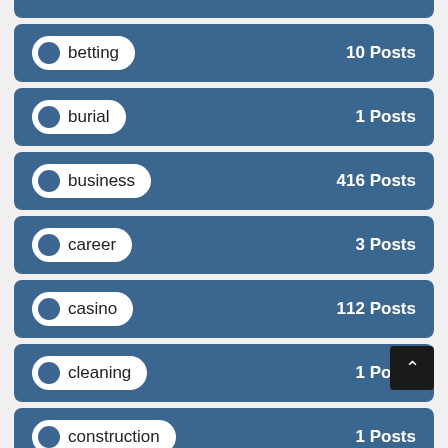betting — 10 Posts
burial — 1 Posts
business — 416 Posts
career — 3 Posts
casino — 112 Posts
cleaning — 1 Posts
construction — 1 Posts